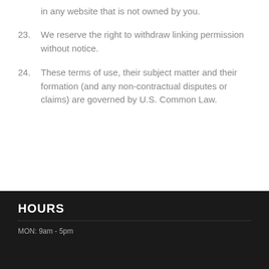in any website that is not owned by you.
23. We reserve the right to withdraw linking permission without notice.
24. These terms of use, their subject matter and their formation (and any non-contractual disputes or claims) are governed by U.S. Common Law.
HOURS
MON: 9am - 5pm